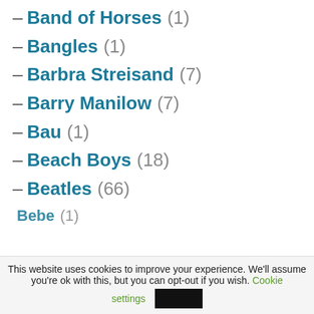– Band of Horses (1)
– Bangles (1)
– Barbra Streisand (7)
– Barry Manilow (7)
– Bau (1)
– Beach Boys (18)
– Beatles (66)
– Bebe (1)
This website uses cookies to improve your experience. We'll assume you're ok with this, but you can opt-out if you wish. Cookie settings